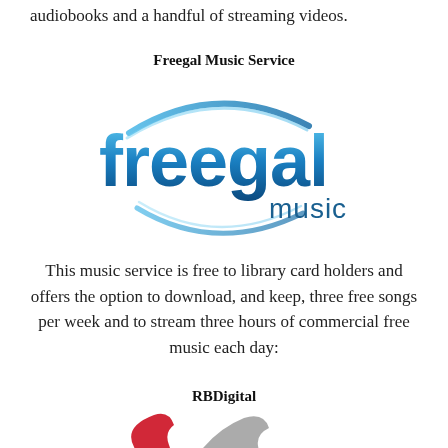audiobooks and a handful of streaming videos.
Freegal Music Service
[Figure (logo): Freegal Music logo: blue gradient stylized text reading 'freegal' with 'music' in smaller text, surrounded by a blue swoosh/ring graphic]
This music service is free to library card holders and offers the option to download, and keep, three free songs per week and to stream three hours of commercial free music each day:
RBDigital
[Figure (logo): RBDigital logo: partial view of red and gray stylized graphic at bottom of page]